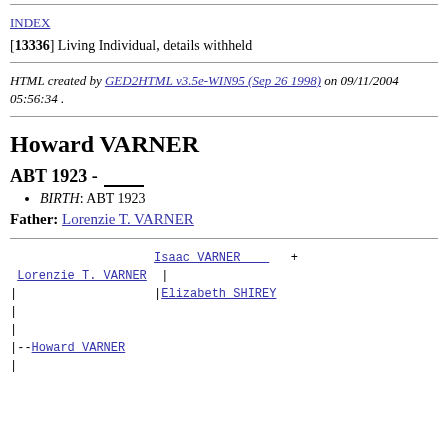INDEX
[13336] Living Individual, details withheld
HTML created by GED2HTML v3.5e-WIN95 (Sep 26 1998) on 09/11/2004 05:56:34 .
Howard VARNER
ABT 1923 - ____
BIRTH: ABT 1923
Father: Lorenzie T. VARNER
Isaac VARNER +
Lorenzie T. VARNER |
                  | Elizabeth SHIREY
|
|
|--Howard VARNER
|